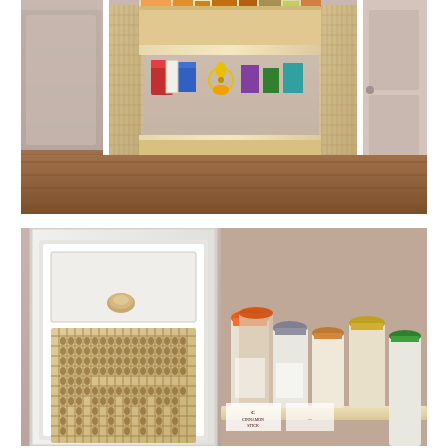[Figure (photo): A wooden pull-out pantry storage unit on casters with woven cane side panels, shown pulled out from between the refrigerator and a door, filled with food items and kitchen goods on multiple shelves.]
[Figure (photo): Close-up split image: left side shows the white-painted door panel of the pantry unit with a woven cane/rattan mesh inset and a tan/beige pull knob; right side shows spice jars with orange, gray, brown, and green caps on a wooden shelf, with a Cinnamon Stick label visible.]